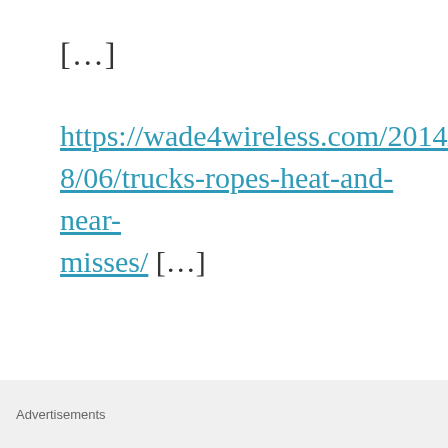[…]
https://wade4wireless.com/2014/08/06/trucks-ropes-heat-and-near-misses/ […]
★ Like
REPLY
[Figure (illustration): Circular disc/avatar image partially visible at bottom left]
FCC and DOL
Advertisements